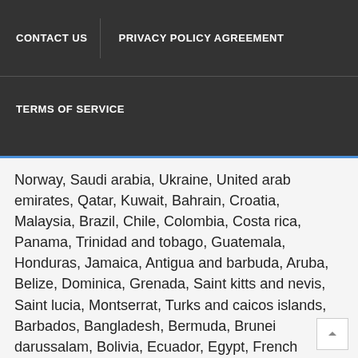CONTACT US | PRIVACY POLICY AGREEMENT | TERMS OF SERVICE
Norway, Saudi arabia, Ukraine, United arab emirates, Qatar, Kuwait, Bahrain, Croatia, Malaysia, Brazil, Chile, Colombia, Costa rica, Panama, Trinidad and tobago, Guatemala, Honduras, Jamaica, Antigua and barbuda, Aruba, Belize, Dominica, Grenada, Saint kitts and nevis, Saint lucia, Montserrat, Turks and caicos islands, Barbados, Bangladesh, Bermuda, Brunei darussalam, Bolivia, Ecuador, Egypt, French guiana, Guernsey, Gibraltar, Guadeloupe, Iceland, Jersey, Jordan, Cambodia, Cayman islands, Liechtenstein, Sri lanka, Luxembourg, Monaco, Macao, Martinique, Maldives, Nicaragua, Oman, Peru, Pakistan, Paraguay, Reunion, Viet nam, Uruguay.